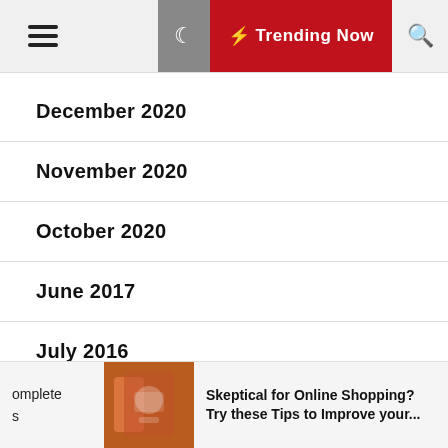≡  🌙  ⚡ Trending Now  🔍
December 2020
November 2020
October 2020
June 2017
July 2016
June 2016
March 2015
omplete
s   Skeptical for Online Shopping? Try these Tips to Improve your...